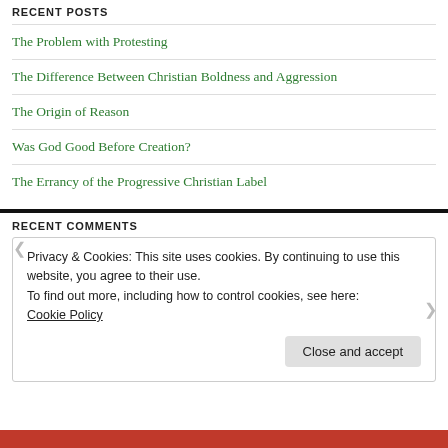RECENT POSTS
The Problem with Protesting
The Difference Between Christian Boldness and Aggression
The Origin of Reason
Was God Good Before Creation?
The Errancy of the Progressive Christian Label
RECENT COMMENTS
Privacy & Cookies: This site uses cookies. By continuing to use this website, you agree to their use.
To find out more, including how to control cookies, see here:
Cookie Policy
Close and accept